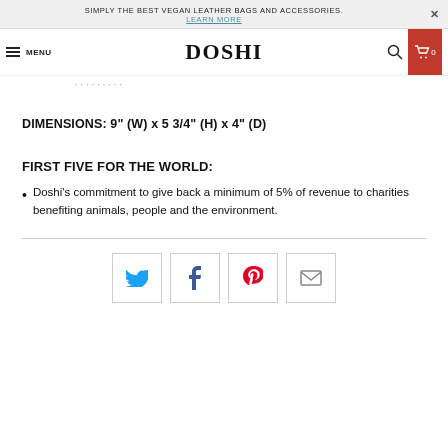SIMPLY THE BEST VEGAN LEATHER BAGS AND ACCESSORIES. LEARN MORE
MENU DOSHI 0
DIMENSIONS: 9" (W) x 5 3/4" (H) x 4" (D)
FIRST FIVE FOR THE WORLD:
Doshi's commitment to give back a minimum of 5% of revenue to charities benefiting animals, people and the environment.
[Figure (other): Social share buttons row: Twitter (bird icon), Facebook (f icon), Pinterest (p icon), Email (envelope icon)]